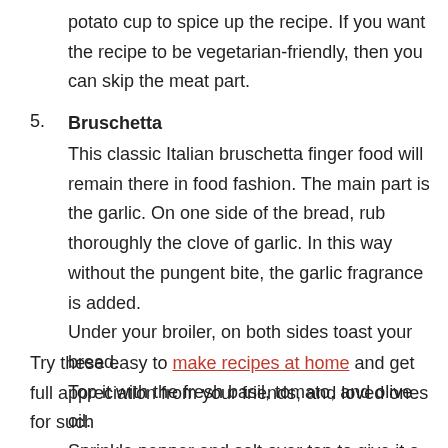potato cup to spice up the recipe. If you want the recipe to be vegetarian-friendly, then you can skip the meat part.
5. Bruschetta
This classic Italian bruschetta finger food will remain there in food fashion. The main part is the garlic. On one side of the bread, rub thoroughly the clove of garlic. In this way without the pungent bite, the garlic fragrance is added.
Under your broiler, on both sides toast your bread.
Top it with the fresh basil, tomato, and olive oil.
Sprinkle pepper and salt over top to give it a spicy taste.
Try these easy to make recipes at home and get full appreciation from your friends, and loved ones for such